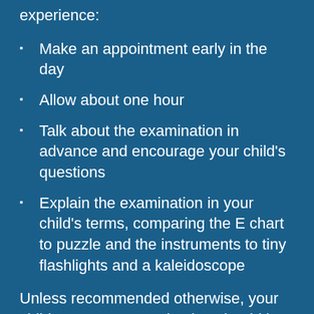experience:
Make an appointment early in the day
Allow about one hour
Talk about the examination in advance and encourage your child's questions
Explain the examination in your child's terms, comparing the E chart to puzzle and the instruments to tiny flashlights and a kaleidoscope
Unless recommended otherwise, your child's next eye examination should be at age five. By comparing test results of the two examinations, we can tell how well your child's vision is developing for the next major step — into the school years.